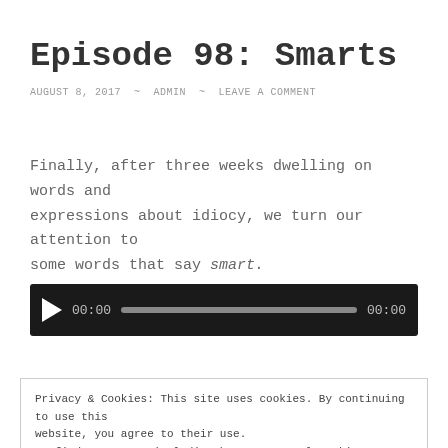Episode 98: Smarts
AUGUST 8, 2017  ~  ADMIN  ~  LEAVE A COMMENT
Finally, after three weeks dwelling on words and expressions about idiocy, we turn our attention to some words that say smart.
[Figure (other): Audio player with play button, time display 00:00, progress bar, and end time 00:00]
Subscribe on iTunes
Privacy & Cookies: This site uses cookies. By continuing to use this website, you agree to their use. To find out more, including how to control cookies, see here: Cookie Policy Close and accept